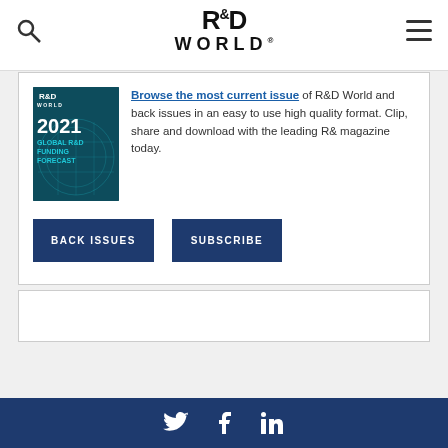R&D World
[Figure (logo): R&D World magazine cover for 2021 Global R&D Funding Forecast issue]
Browse the most current issue of R&D World and back issues in an easy to use high quality format. Clip, share and download with the leading R& magazine today.
BACK ISSUES
SUBSCRIBE
Twitter, Facebook, LinkedIn social icons